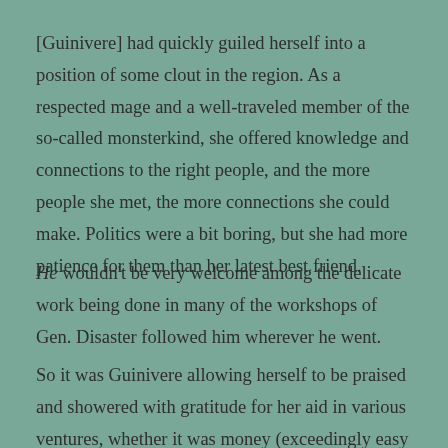[Guinivere] had quickly guiled herself into a position of some clout in the region. As a respected mage and a well-traveled member of the so-called monsterkind, she offered knowledge and connections to the right people, and the more people she met, the more connections she could make. Politics were a bit boring, but she had more patience for them than her latest best friend.
He wouldn't be very welcome among the delicate work being done in many of the workshops of Gen. Disaster followed him wherever he went.
So it was Guinivere allowing herself to be praised and showered with gratitude for her aid in various ventures, whether it was money (exceedingly easy for her to talk out of rich men), magic,